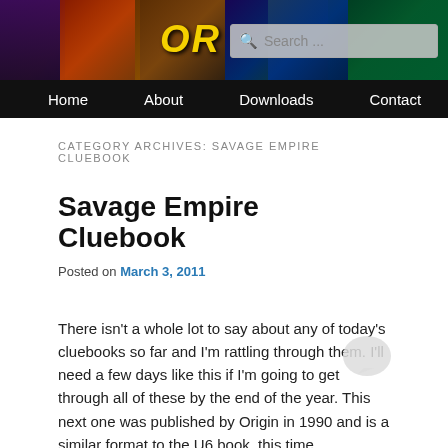[Figure (screenshot): Website header banner with colorful comic-style background art, partially visible logo text 'OR...' in yellow italic font, and a search box overlay]
Home   About   Downloads   Contact
CATEGORY ARCHIVES: SAVAGE EMPIRE CLUEBOOK
Savage Empire Cluebook
Posted on March 3, 2011
There isn't a whole lot to say about any of today's cluebooks so far and I'm rattling through them. I'll need a few days like this if I'm going to get through all of these by the end of the year. This next one was published by Origin in 1990 and is a similar format to the U6 book, this time